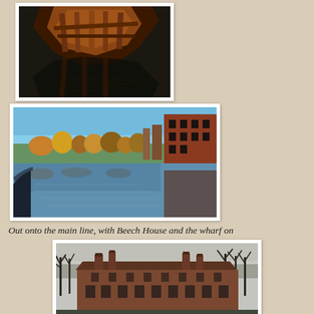[Figure (photo): Dark water reflection with wooden bridge/structure seen from below, with orange/brown tones]
[Figure (photo): Wide canal panorama with reflections of autumn trees and a red brick building on the right; blue sky; view from boat level]
Out onto the main line, with Beech House and the wharf on
[Figure (photo): Large red brick house (Beech House) surrounded by bare winter trees under overcast sky]